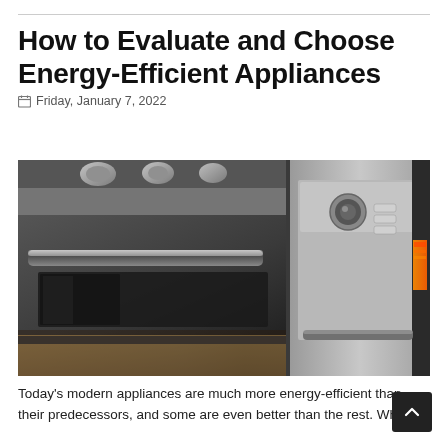How to Evaluate and Choose Energy-Efficient Appliances
Friday, January 7, 2022
[Figure (photo): Close-up photograph of stainless steel kitchen appliances including an oven with a handle on the left and a dishwasher or washing machine with control panel buttons on the right.]
Today's modern appliances are much more energy-efficient than their predecessors, and some are even better than the rest. Wh... choosing from among them, you'll likely be overwhelmed by choice, it...